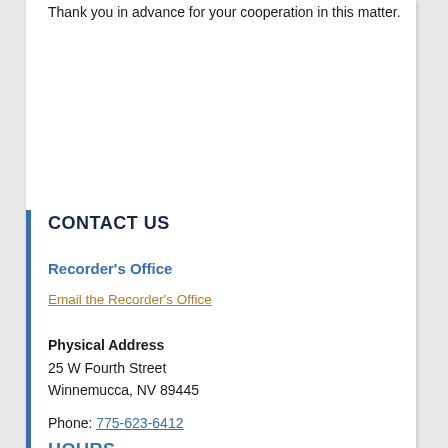Thank you in advance for your cooperation in this matter.
CONTACT US
Recorder's Office
Email the Recorder's Office
Physical Address
25 W Fourth Street
Winnemucca, NV 89445
Phone: 775-623-6412
Fax: 775-623-6337
HOURS